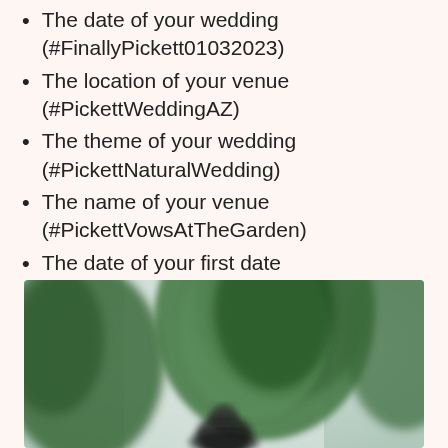The date of your wedding (#FinallyPickett01032023)
The location of your venue (#PickettWeddingAZ)
The theme of your wedding (#PickettNaturalWedding)
The name of your venue (#PickettVowsAtTheGarden)
The date of your first date (#PickettAtLast021718)
[Figure (photo): A blurred outdoor wedding scene with lush green floral arch and a person in the foreground, soft natural lighting]